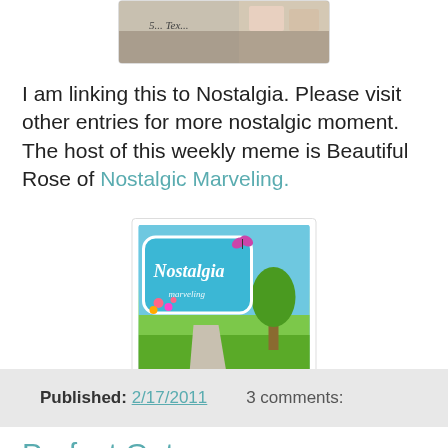[Figure (photo): Partial top image showing what appears to be papers or postcards on a table, cropped at the top of the page]
I am linking this to Nostalgia. Please visit other entries for more nostalgic moment. The host of this weekly meme is Beautiful Rose of Nostalgic Marveling.
[Figure (photo): Nostalgia badge/button image showing a road sign reading 'Nostalgia' with flowers, against a background of blue sky, green grass, trees and a road]
Published: 2/17/2011    3 comments:
Perfect Getaway